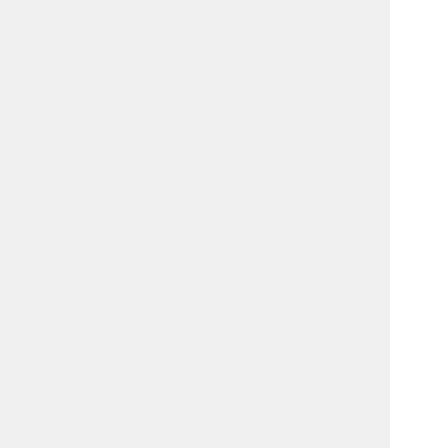[Figure (other): Left sidebar panel with light gray background and a vertical blue-gray dividing line]
authorityKeyIdentifier = keyid
#subjectAltName          = emai
#crlDistributionPoints   = URI:

[ X509_server ]
# X509v3 extensions for server
basicConstraints         = CA:FA
nsCertType               = serve
subjectKeyIdentifier     = hash
authorityKeyIdentifier   = keyid
#subjectAltName          = emai
#crlDistributionPoints   = URI:

[ X509_client ]
# X509v3 extensions for client
basicConstraints         = CA:FA
nsCertType               = clien
subjectKeyIdentifier     = hash
authorityKeyIdentifier   = keyid
#subjectAltName          = emai
#crlDistributionPoints   = URI:

[ policy_dn ]
countryName              = suppl
stateOrProvinceName      = optio